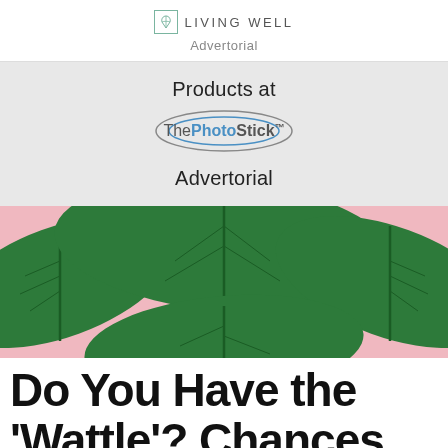LIVING WELL
Advertorial
Products at
ThePhotoStick™
Advertorial
[Figure (photo): Tropical green monstera leaves arranged on a pink background, overhead/flat-lay view]
Do You Have the 'Wattle'? Chances Are High if You're